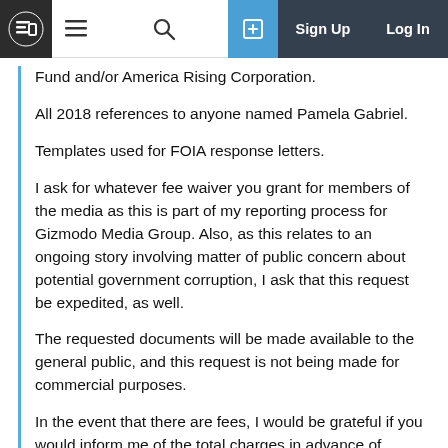[Navigation bar with logo, menu, search, sign up, log in]
Fund and/or America Rising Corporation.
All 2018 references to anyone named Pamela Gabriel.
Templates used for FOIA response letters.
I ask for whatever fee waiver you grant for members of the media as this is part of my reporting process for Gizmodo Media Group. Also, as this relates to an ongoing story involving matter of public concern about potential government corruption, I ask that this request be expedited, as well.
The requested documents will be made available to the general public, and this request is not being made for commercial purposes.
In the event that there are fees, I would be grateful if you would inform me of the total charges in advance of fulfilling